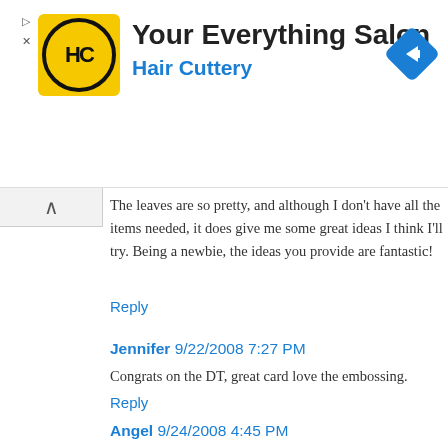[Figure (logo): Hair Cuttery advertisement banner with HC logo in yellow circle, title 'Your Everything Salon', subtitle 'Hair Cuttery', and a blue navigation arrow icon]
The leaves are so pretty, and although I don't have all the items needed, it does give me some great ideas I think I'll try. Being a newbie, the ideas you provide are fantastic!
Reply
Jennifer 9/22/2008 7:27 PM
Congrats on the DT, great card love the embossing.
Reply
Angel 9/24/2008 4:45 PM
So very elegantly gorgeous!
Reply